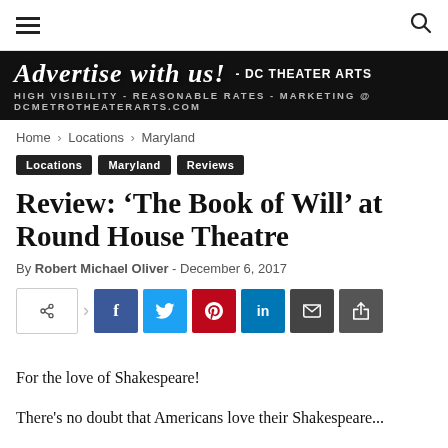Navigation bar with hamburger menu and search icon
[Figure (infographic): Black advertisement banner reading: Advertise with us! - DC THEATER ARTS / HIGH VISIBILITY - REASONABLE RATES - MARKETING @ DCMETROTHEATERARTS.COM]
Home › Locations › Maryland
Locations
Maryland
Reviews
Review: 'The Book of Will' at Round House Theatre
By Robert Michael Oliver - December 6, 2017
[Figure (infographic): Social sharing buttons: share icon, Facebook, Twitter, Pinterest, LinkedIn, Email, Print]
For the love of Shakespeare!
There's no doubt that Americans love their Shakespeare...